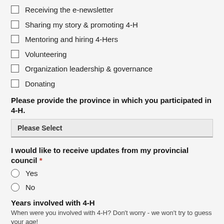Receiving the e-newsletter
Sharing my story & promoting 4-H
Mentoring and hiring 4-Hers
Volunteering
Organization leadership & governance
Donating
Please provide the province in which you participated in 4-H.
Please Select
I would like to receive updates from my provincial council *
Yes
No
Years involved with 4-H
When were you involved with 4-H? Don't worry - we won't try to guess your age!